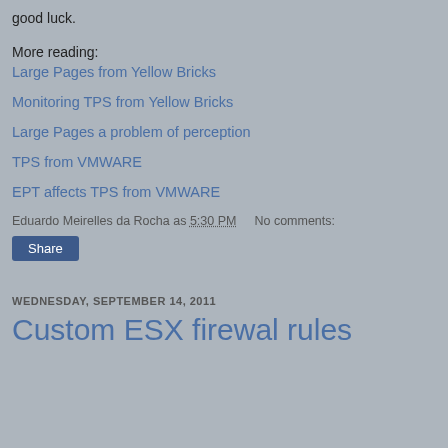good luck.
More reading:
Large Pages from Yellow Bricks
Monitoring TPS from Yellow Bricks
Large Pages a problem of perception
TPS from VMWARE
EPT affects TPS from VMWARE
Eduardo Meirelles da Rocha as 5:30 PM    No comments:
Share
WEDNESDAY, SEPTEMBER 14, 2011
Custom ESX firewal rules